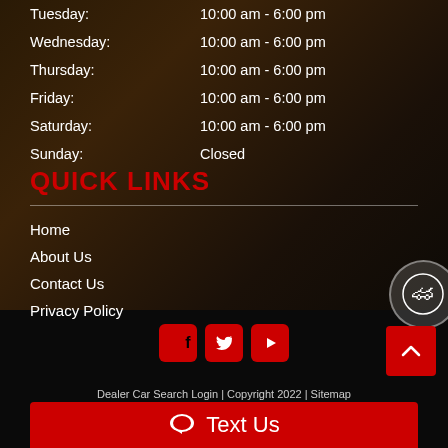Tuesday: 10:00 am - 6:00 pm
Wednesday: 10:00 am - 6:00 pm
Thursday: 10:00 am - 6:00 pm
Friday: 10:00 am - 6:00 pm
Saturday: 10:00 am - 6:00 pm
Sunday: Closed
QUICK LINKS
Home
About Us
Contact Us
Privacy Policy
Dealer Car Search Login | Copyright 2022 | Sitemap
Text Us